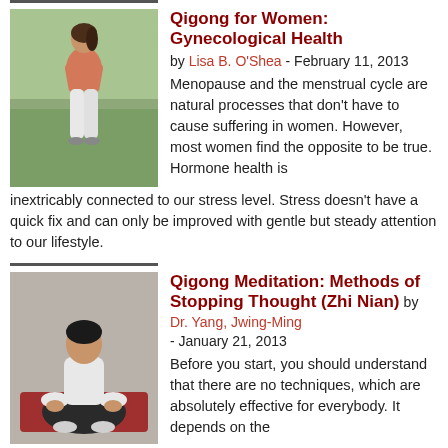[Figure (photo): Woman in pink top and white pants standing outdoors on grass]
Qigong for Women: Gynecological Health
by Lisa B. O'Shea - February 11, 2013
Menopause and the menstrual cycle are natural processes that don't have to cause suffering in women. However, most women find the opposite to be true. Hormone health is inextricably connected to our stress level. Stress doesn't have a quick fix and can only be improved with gentle but steady attention to our lifestyle.
[Figure (photo): Man in white shirt sitting cross-legged in meditation pose on red mat]
Qigong Meditation: Methods of Stopping Thought (Zhi Nian)
by Dr. Yang, Jwing-Ming - January 21, 2013
Before you start, you should understand that there are no techniques, which are absolutely effective for everybody. It depends on the individual. It may also depend on the situation and timing. Remember that the final goal of regulating your thoughts is to reach "the thought of no thought."